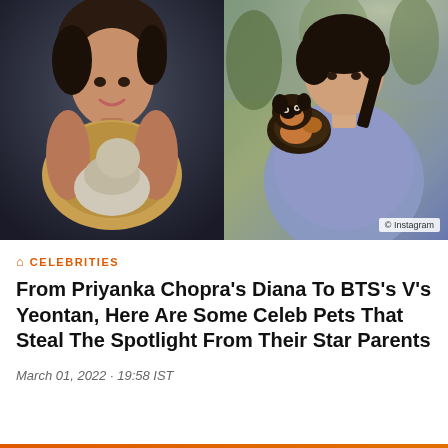[Figure (photo): Two side-by-side celebrity photos: left shows a woman (Priyanka Chopra) holding a small dog, right shows a young man (BTS's V) with a black and tan Pomeranian dog resting on his shoulder, with © Instagram watermark]
CELEBRITIES
From Priyanka Chopra's Diana To BTS's V's Yeontan, Here Are Some Celeb Pets That Steal The Spotlight From Their Star Parents
March 01, 2022 · 19:58 IST